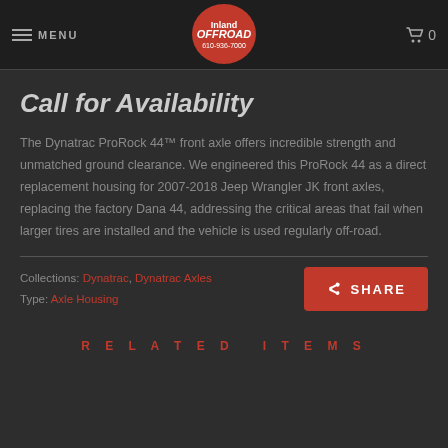MENU | Offroad Logo | Cart 0
Call for Availability
The Dynatrac ProRock 44™ front axle offers incredible strength and unmatched ground clearance. We engineered this ProRock 44 as a direct replacement housing for 2007-2018 Jeep Wrangler JK front axles, replacing the factory Dana 44, addressing the critical areas that fail when larger tires are installed and the vehicle is used regularly off-road.
Collections: Dynatrac, Dynatrac Axles
Type: Axle Housing
RELATED ITEMS